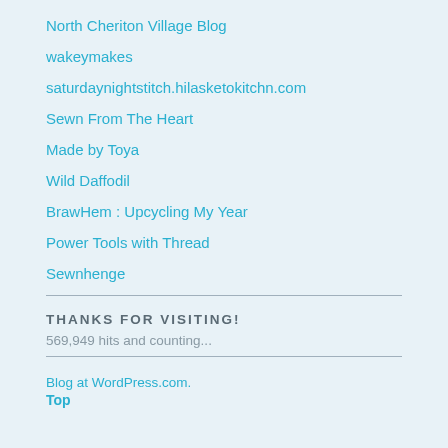North Cheriton Village Blog
wakeymakes
saturdaynightstitch.hilasketokitchn.com
Sewn From The Heart
Made by Toya
Wild Daffodil
BrawHem : Upcycling My Year
Power Tools with Thread
Sewnhenge
THANKS FOR VISITING!
569,949 hits and counting...
Blog at WordPress.com.
Top